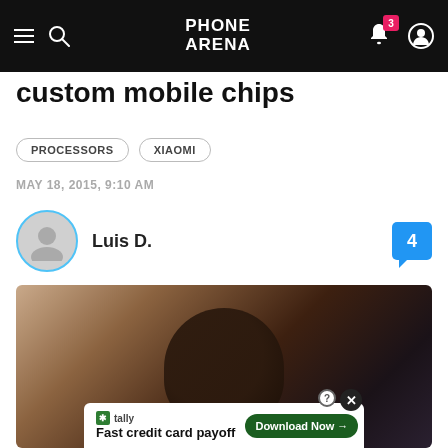PhoneArena navigation bar with logo, search, notifications (3), and account icon
custom mobile chips
PROCESSORS
XIAOMI
MAY 18, 2015, 9:10 AM
Luis D.
[Figure (photo): Article image showing a person (blurred) with a smartphone, partially visible]
[Figure (infographic): Tally advertisement banner: Fast credit card payoff, Download Now button with close and help icons]